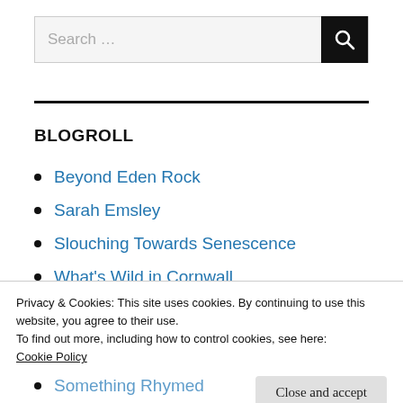Search …
BLOGROLL
Beyond Eden Rock
Sarah Emsley
Slouching Towards Senescence
What's Wild in Cornwall
Privacy & Cookies: This site uses cookies. By continuing to use this website, you agree to their use.
To find out more, including how to control cookies, see here:
Cookie Policy
Close and accept
Something Rhymed